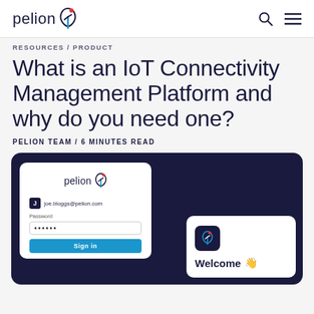pelion
RESOURCES / PRODUCT
What is an IoT Connectivity Management Platform and why do you need one?
PELION TEAM / 6 MINUTES READ
[Figure (screenshot): Dark navy hero image showing a Pelion login card (with email joe.bloggs@pelion.com, password dots, and Sign in button) and a Welcome card with Pelion logo icon and wave emoji]